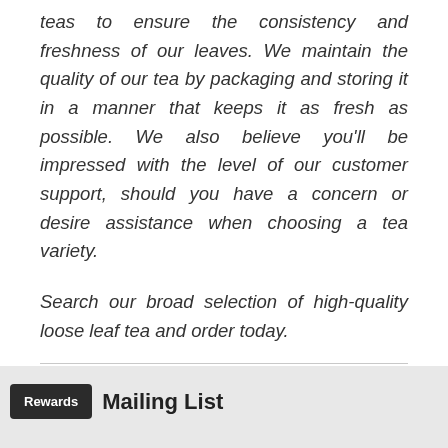teas to ensure the consistency and freshness of our leaves. We maintain the quality of our tea by packaging and storing it in a manner that keeps it as fresh as possible. We also believe you'll be impressed with the level of our customer support, should you have a concern or desire assistance when choosing a tea variety.
Search our broad selection of high-quality loose leaf tea and order today.
Mailing List